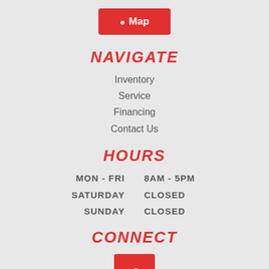[Figure (other): Red Map button with location pin icon and text 'Map']
NAVIGATE
Inventory
Service
Financing
Contact Us
HOURS
MON - FRI   8AM - 5PM
SATURDAY   CLOSED
SUNDAY   CLOSED
CONNECT
[Figure (logo): Red Facebook icon button]